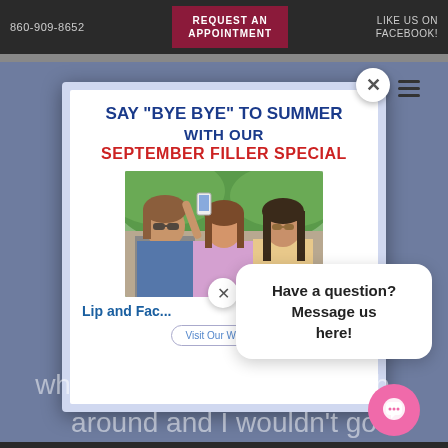860-909-8652  REQUEST AN APPOINTMENT  LIKE US ON FACEBOOK!
[Figure (screenshot): Modal popup advertisement for September Filler Special with photo of three women taking a selfie]
SAY "BYE BYE" TO SUMMER WITH OUR SEPTEMBER FILLER SPECIAL
Lip and Fac...
Visit Our Website
Have a question? Message us here!
what they do. They are the b... around and I wouldn't go